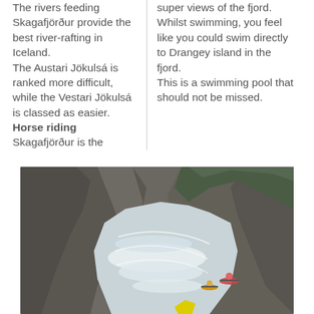The rivers feeding Skagafjörður provide the best river-rafting in Iceland. The Austari Jökulsá is ranked more difficult, while the Vestari Jökulsá is classed as easier.
Horse riding
Skagafjörður is the
super views of the fjord. Whilst swimming, you feel like you could swim directly to Drangey island in the fjord. This is a swimming pool that should not be missed.
[Figure (photo): Photo of kayakers paddling through a rocky river gorge with white water rapids and green vegetation on the canyon walls.]